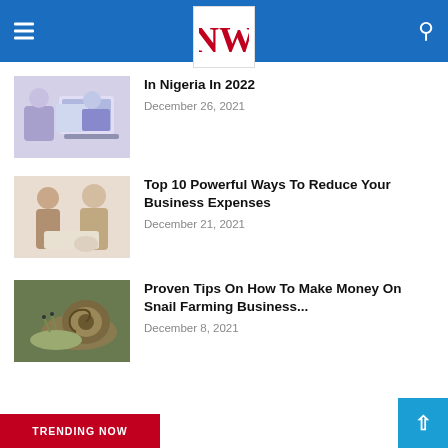NW (logo) — navigation header with hamburger menu and search icon
In Nigeria In 2022
December 26, 2021
Top 10 Powerful Ways To Reduce Your Business Expenses
December 21, 2021
Proven Tips On How To Make Money On Snail Farming Business...
December 8, 2021
TRENDING NOW